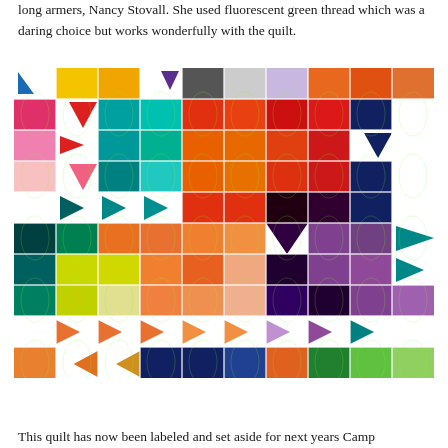long armers, Nancy Stovall. She used fluorescent green thread which was a daring choice but works wonderfully with the quilt.
[Figure (photo): A colorful patchwork quilt photographed flat, featuring a grid of bright solid-color squares and triangle arrow shapes arranged in rows across the quilt in various colors including red, orange, yellow, green, teal, blue, purple, pink, and white. The quilting has visible quilted swirl patterns in fluorescent green thread.]
This quilt has now been labeled and set aside for next years Camp